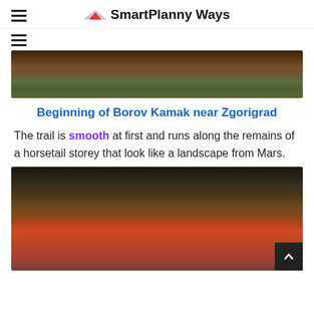SmartPlanny Ways
[Figure (photo): Partial view of a forest/trail landscape with autumn foliage and grass]
Beginning of Borov Kamak near Zgorigrad
The trail is smooth at first and runs along the remains of a horsetail storey that look like a landscape from Mars.
[Figure (photo): Autumn forest floor with red fallen leaves, bare tree branches, green new growth, and white flowers]